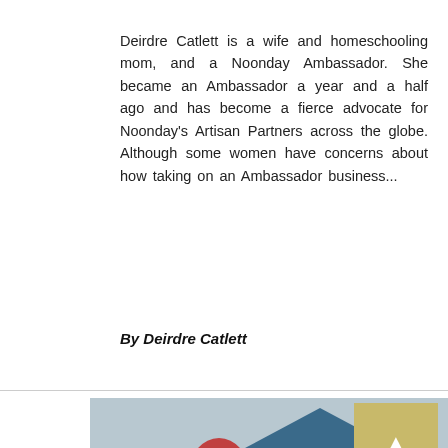Deirdre Catlett is a wife and homeschooling mom, and a Noonday Ambassador. She became an Ambassador a year and a half ago and has become a fierce advocate for Noonday's Artisan Partners across the globe. Although some women have concerns about how taking on an Ambassador business...
By Deirdre Catlett
[Figure (photo): A young boy in a blue argyle sweater standing next to an open car trunk, outdoors with a blue house, red flowering tree, and green bushes in the background during autumn.]